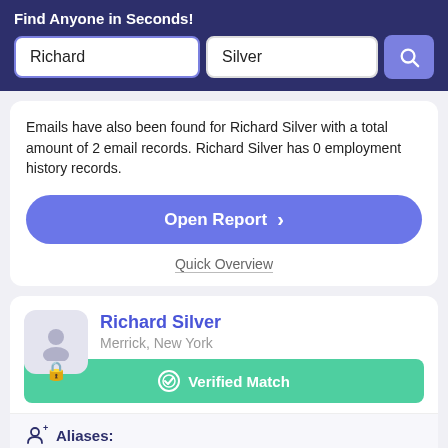Find Anyone in Seconds!
Emails have also been found for Richard Silver with a total amount of 2 email records. Richard Silver has 0 employment history records.
Open Report >
Quick Overview
Richard Silver
Merrick, New York
Verified Match
Aliases:
Richard Silver